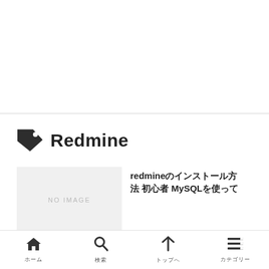Redmine
[Figure (other): NO IMAGE placeholder thumbnail]
redmineのインストール方法 初心者 MySQLを使って
ホーム　検索　トップへ　カテゴリー